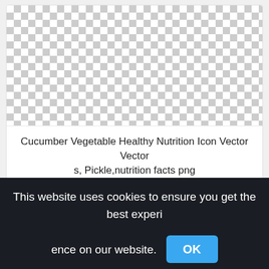[Figure (illustration): Checkered transparency background placeholder for Cucumber Vegetable Healthy Nutrition Icon Vector image]
Cucumber Vegetable Healthy Nutrition Icon Vector Vectors, Pickle,nutrition facts png
741x720px
[Figure (illustration): Checkered transparency background placeholder for second image]
This website uses cookies to ensure you get the best experience on our website. OK